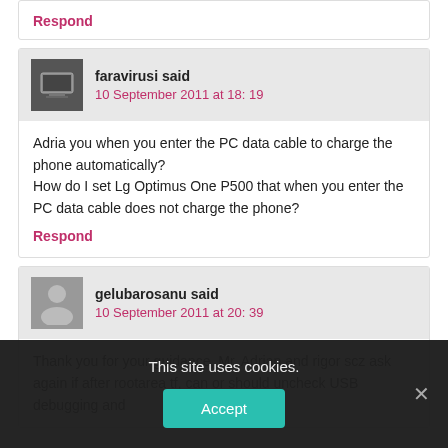Respond
faravirusi said
10 September 2011 at 18: 19
Adria you when you enter the PC data cable to charge the phone automatically?
How do I set Lg Optimus One P500 that when you enter the PC data cable does not charge the phone?
Respond
gelubarosanu said
10 September 2011 at 20: 39
Thank you for your guidance, Mr. Adrian and rigor scz ask again if after rootarea tf, can or should uncheck USB debugging and
This site uses cookies.
Accept